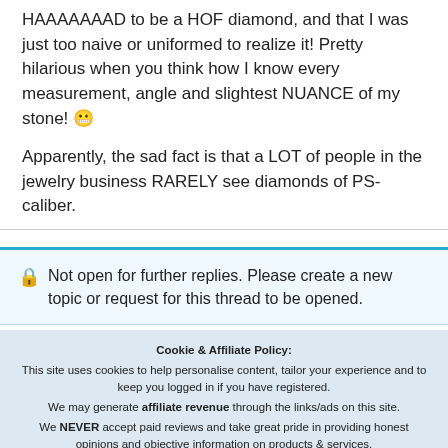HAAAAAAAD to be a HOF diamond, and that I was just too naive or uniformed to realize it! Pretty hilarious when you think how I know every measurement, angle and slightest NUANCE of my stone! 😬

Apparently, the sad fact is that a LOT of people in the jewelry business RARELY see diamonds of PS-caliber.
🔒 Not open for further replies. Please create a new topic or request for this thread to be opened.
Cookie & Affiliate Policy:
This site uses cookies to help personalise content, tailor your experience and to keep you logged in if you have registered.
We may generate affiliate revenue through the links/ads on this site.
We NEVER accept paid reviews and take great pride in providing honest opinions and objective information on products & services.
By continuing to use this site, you are consenting to our use of cookie policy.